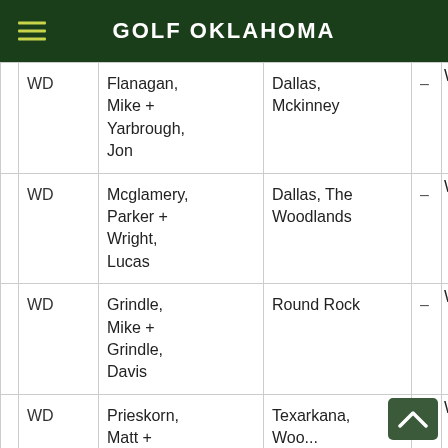GOLF OKLAHOMA
| Status | Name | City | Score |  |
| --- | --- | --- | --- | --- |
| WD | Flanagan, Mike + Yarbrough, Jon | Dallas, Mckinney | – | W |
| WD | Mcglamery, Parker + Wright, Lucas | Dallas, The Woodlands | – | W |
| WD | Grindle, Mike + Grindle, Davis | Round Rock | – | W |
| WD | Prieskorn, Matt + | Texarkana, Woo... | – | W |